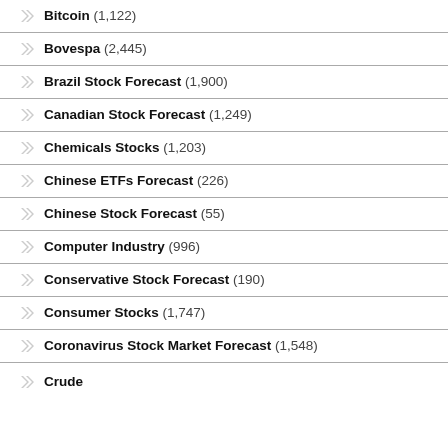Bitcoin (1,122)
Bovespa (2,445)
Brazil Stock Forecast (1,900)
Canadian Stock Forecast (1,249)
Chemicals Stocks (1,203)
Chinese ETFs Forecast (226)
Chinese Stock Forecast (55)
Computer Industry (996)
Conservative Stock Forecast (190)
Consumer Stocks (1,747)
Coronavirus Stock Market Forecast (1,548)
Crude (partial, cut off)